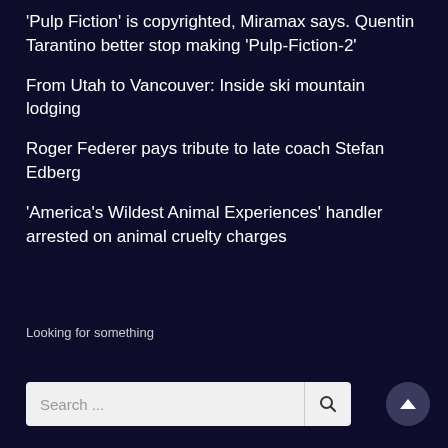'Pulp Fiction' is copyrighted, Miramax says. Quentin Tarantino better stop making 'Pulp-Fiction-2'
From Utah to Vancouver: Inside ski mountain lodging
Roger Federer pays tribute to late coach Stefan Edberg
'America's Wildest Animal Experiences' handler arrested on animal cruelty charges
Looking for something
Search ...